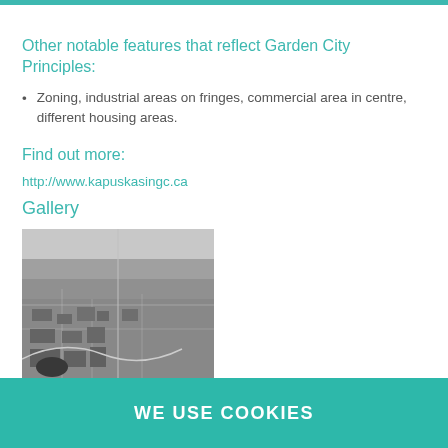Other notable features that reflect Garden City Principles:
Zoning, industrial areas on fringes, commercial area in centre, different housing areas.
Find out more:
http://www.kapuskasingc.ca
Gallery
[Figure (photo): Black and white aerial photograph of a town, showing urban layout with streets, buildings, and surrounding landscape including water bodies.]
WE USE COOKIES